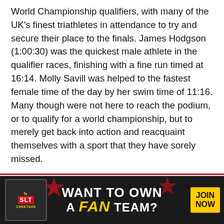World Championship qualifiers, with many of the UK's finest triathletes in attendance to try and secure their place to the finals. James Hodgson (1:00:30) was the quickest male athlete in the qualifier races, finishing with a fine run timed at 16:14. Molly Savill was helped to the fastest female time of the day by her swim time of 11:16. Many though were not here to reach the podium, or to qualify for a world championship, but to merely get back into action and reacquaint themselves with a sport that they have sorely missed.
[Figure (infographic): Advertisement banner for SLT Cheetahs fan team: 'WANT TO OWN A FAN TEAM? JOIN NOW' on dark background with yellow accent text and logo.]